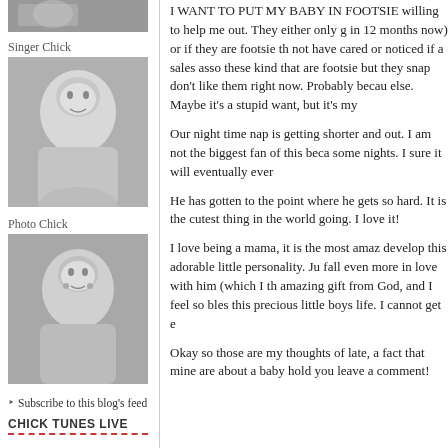[Figure (photo): Top cropped portrait photo (grayscale), partial view]
Singer Chick
[Figure (photo): Black and white portrait of Singer Chick, blonde woman smiling]
Photo Chick
[Figure (photo): Black and white portrait of Photo Chick, blonde woman smiling]
Subscribe to this blog's feed
CHICK TUNES LIVE
I WANT TO PUT MY BABY IN FOOTSIE willing to help me out. They either only g in 12 months now) or if they are footsie th not have cared or noticed if a sales asso these kind that are footsie but they snap don't like them right now. Probably becau else. Maybe it's a stupid want, but it's my
Our night time nap is getting shorter and out. I am not the biggest fan of this beca some nights. I sure it will eventually ever
He has gotten to the point where he gets so hard. It is the cutest thing in the world going. I love it!
I love being a mama, it is the most amaz develop this adorable little personality. Ju fall even more in love with him (which I th amazing gift from God, and I feel so bles this precious little boys life. I cannot get e
Okay so those are my thoughts of late, a fact that mine are about a baby hold you leave a comment!